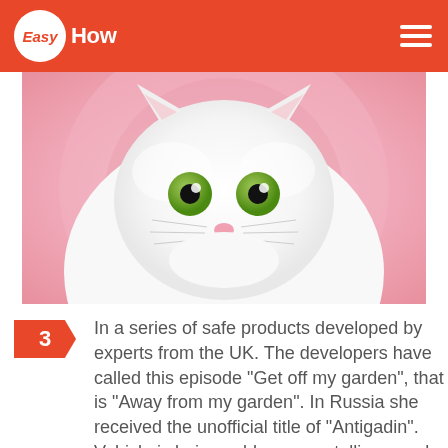EasyHow
[Figure (photo): White fluffy cat with green eyes peeking out from pink fabric or tunnel]
3 In a series of safe products developed by experts from the UK. The developers have called this episode "Get off my garden", that is "Away from my garden". In Russia she received the unofficial title of "Antigadin". Vehicle is being sold as a crystalline powder, spray and gel spray. Powder for one month emit odorous substances, scaring away dogs, while harmless to humans and the environment.